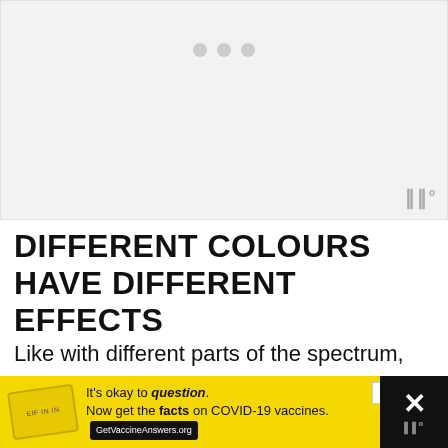[Figure (other): Gray placeholder image area with three gray dots at the top center and a watermark logo in the bottom right corner]
DIFFERENT COLOURS HAVE DIFFERENT EFFECTS
Like with different parts of the spectrum, damage is all about wavelength within the visible spectrum. Different wavelengths of visible light can even have the opposite effects on the skin.
[Figure (other): Yellow advertisement banner: It's okay to question. Now get the facts on COVID-19 vaccines. GetVaccineAnswers.org]